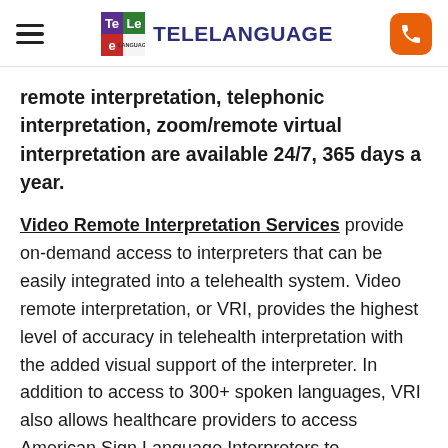TELELANGUAGE
remote interpretation, telephonic interpretation, zoom/remote virtual interpretation are available 24/7, 365 days a year.
Video Remote Interpretation Services provide on-demand access to interpreters that can be easily integrated into a telehealth system. Video remote interpretation, or VRI, provides the highest level of accuracy in telehealth interpretation with the added visual support of the interpreter. In addition to access to 300+ spoken languages, VRI also allows healthcare providers to access American Sign Language Interpreters to communicate with Deaf and Hard-of-Hearing patients. Secure, robust, and easy to